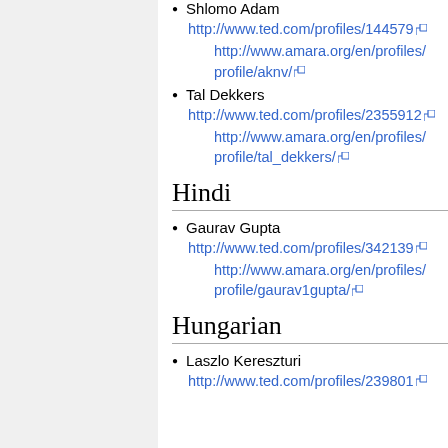Shlomo Adam
http://www.ted.com/profiles/144579
http://www.amara.org/en/profiles/profile/aknv/
Tal Dekkers
http://www.ted.com/profiles/2355912
http://www.amara.org/en/profiles/profile/tal_dekkers/
Hindi
Gaurav Gupta
http://www.ted.com/profiles/342139
http://www.amara.org/en/profiles/profile/gaurav1gupta/
Hungarian
Laszlo Kereszturi
http://www.ted.com/profiles/239801